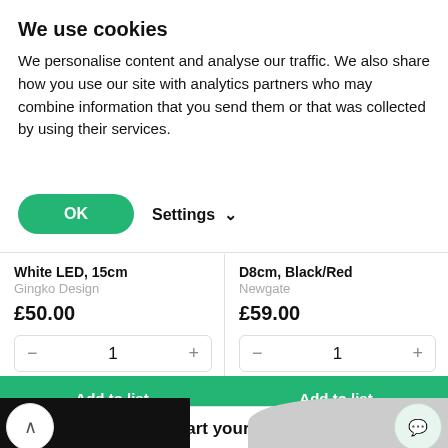We use cookies
We personalise content and analyse our traffic. We also share how you use our site with analytics partners who may combine information that you send them or that was collected by using their services.
OK  Settings
White LED, 15cm
Gingko Design
£50.00
D8cm, Black/Red
Newgate
£59.00
Add to list
Add to list
Start your list